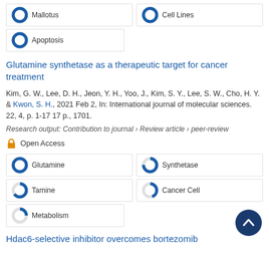[Figure (other): Keyword badges: 100% Mallotus and 100% Cell Lines]
[Figure (other): Keyword badge: 100% Apoptosis]
Glutamine synthetase as a therapeutic target for cancer treatment
Kim, G. W., Lee, D. H., Jeon, Y. H., Yoo, J., Kim, S. Y., Lee, S. W., Cho, H. Y. & Kwon, S. H., 2021 Feb 2, In: International journal of molecular sciences. 22, 4, p. 1-17 17 p., 1701.
Research output: Contribution to journal › Review article › peer-review
Open Access
[Figure (other): Keyword badges: 100% Glutamine, 75% Synthetase]
[Figure (other): Keyword badges: 65% Tamine, 45% Cancer Cell]
[Figure (other): Keyword badge: 25% Metabolism]
Hdac6-selective inhibitor overcomes bortezomib resistance in multiple myeloma